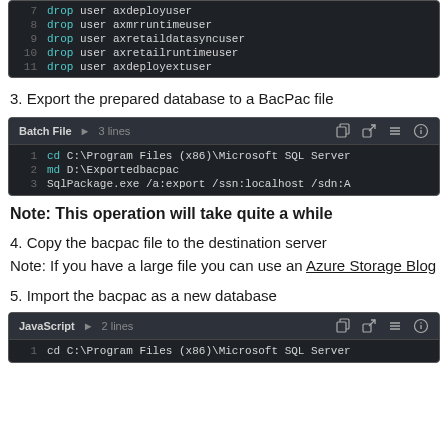[Figure (screenshot): Dark-themed code block (no header visible) showing SQL drop user commands, lines 7-11]
3. Export the prepared database to a BacPac file
[Figure (screenshot): Batch File code block, 3 lines: cd C:\Program Files (x86)\Microsoft SQL Server, md D:\Exportedbacpac, SqlPackage.exe /a:export /ssn:localhost /sdn:A]
Note: This operation will take quite a while
4. Copy the bacpac file to the destination server
Note: If you have a large file you can use an Azure Storage Blog
5. Import the bacpac as a new database
[Figure (screenshot): JavaScript code block, 2 lines: cd C:\Program Files (x86)\Microsoft SQL Server]